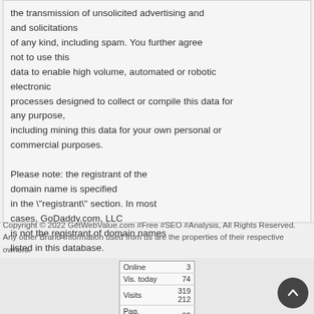the transmission of unsolicited advertising and and solicitations of any kind, including spam. You further agree not to use this data to enable high volume, automated or robotic electronic processes designed to collect or compile this data for any purpose, including mining this data for your own personal or commercial purposes.

Please note: the registrant of the domain name is specified in the "registrant" section. In most cases, GoDaddy.com, LLC is not the registrant of domain names listed in this database.
Copyright © 2022 GetWebValue.com #Free #SEO #Analysis, All Rights Reserved.
Any other Brand Information used from us are the properties of their respective owners.
[Figure (table-as-image): Stats widget showing Online: 3, Vis. today: 74, Visits: 319 212, Pag. today: (partially visible)]